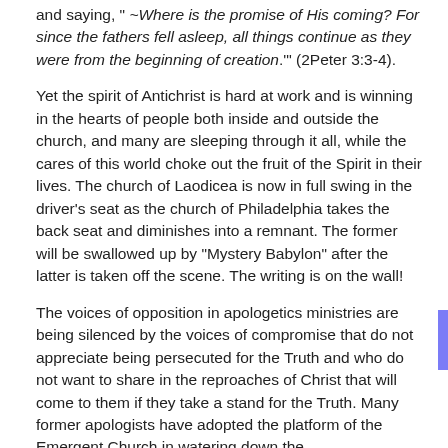and saying, " ~Where is the promise of His coming? For since the fathers fell asleep, all things continue as they were from the beginning of creation.'" (2Peter 3:3-4).
Yet the spirit of Antichrist is hard at work and is winning in the hearts of people both inside and outside the church, and many are sleeping through it all, while the cares of this world choke out the fruit of the Spirit in their lives. The church of Laodicea is now in full swing in the driver's seat as the church of Philadelphia takes the back seat and diminishes into a remnant. The former will be swallowed up by "Mystery Babylon" after the latter is taken off the scene. The writing is on the wall!
The voices of opposition in apologetics ministries are being silenced by the voices of compromise that do not appreciate being persecuted for the Truth and who do not want to share in the reproaches of Christ that will come to them if they take a stand for the Truth. Many former apologists have adopted the platform of the Emergent Church in watering down the